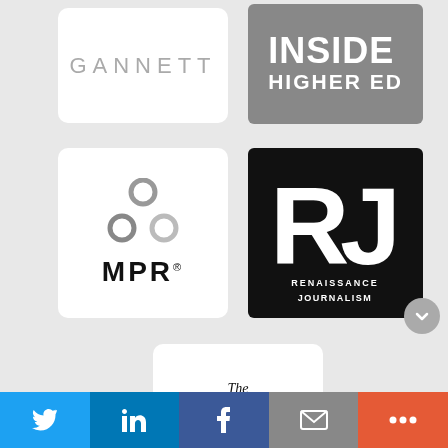[Figure (logo): Gannett logo — gray uppercase sans-serif text on white card]
[Figure (logo): Inside Higher Ed logo — white bold text on gray background card]
[Figure (logo): MPR (Minnesota Public Radio) logo — three gray circles and bold MPR text on white card]
[Figure (logo): Renaissance Journalism logo — white RJ monogram and text on black card]
[Figure (logo): The Philadelphia Inquirer logo — blackletter serif text on white card]